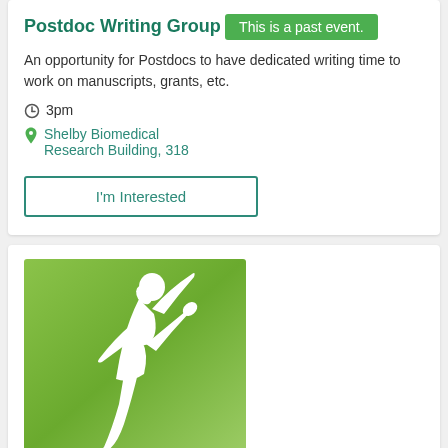Postdoc Writing Group
This is a past event.
An opportunity for Postdocs to have dedicated writing time to work on manuscripts, grants, etc.
3pm
Shelby Biomedical Research Building, 318
I'm Interested
[Figure (illustration): Green gradient background with a white silhouette of a woman doing a yoga pose (boat pose / Navasana), holding her feet up with arms extended.]